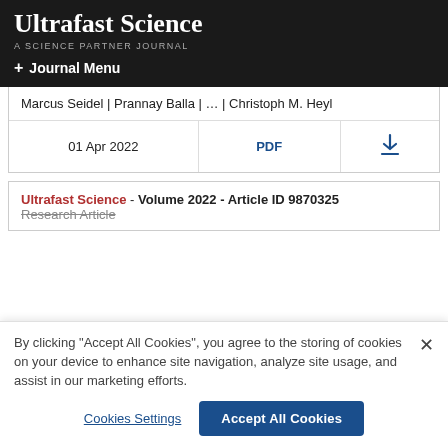Ultrafast Science - A SCIENCE PARTNER JOURNAL
+ Journal Menu
| Marcus Seidel | Prannay Balla | ... | Christoph M. Heyl |
| 01 Apr 2022 | PDF | ⬇ |
Ultrafast Science - Volume 2022 - Article ID 9870325
Research Article
By clicking "Accept All Cookies", you agree to the storing of cookies on your device to enhance site navigation, analyze site usage, and assist in our marketing efforts.
Cookies Settings   Accept All Cookies